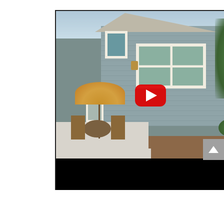[Figure (screenshot): YouTube video thumbnail showing a townhome exterior with gray siding, white trim windows, a patio with outdoor furniture and umbrella, and greenery. YouTube header bar reads 'Mariners Pointe Townho...' with the Above Wisconsin channel logo. A red YouTube play button is overlaid in the center. The video player has a black progress bar at the bottom.]